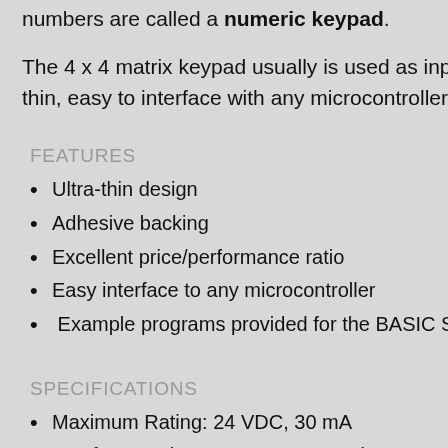numbers are called a numeric keypad.
The 4 x 4 matrix keypad usually is used as input i thin, easy to interface with any microcontroller and
FEATURES
Ultra-thin design
Adhesive backing
Excellent price/performance ratio
Easy interface to any microcontroller
Example programs provided for the BASIC S
SPECIFICATIONS
Maximum Rating: 24 VDC, 30 mA
Interface: 8-pin access to 4×4 matrix